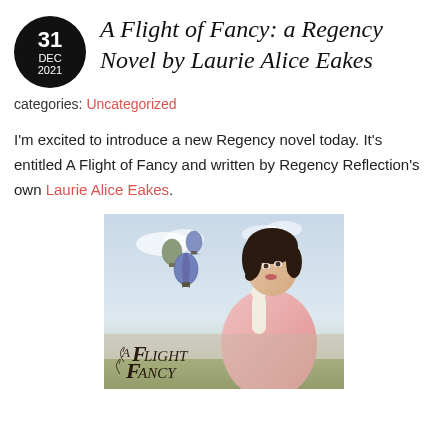A Flight of Fancy: a Regency Novel by Laurie Alice Eakes
categories: Uncategorized
I'm excited to introduce a new Regency novel today. It's entitled A Flight of Fancy and written by Regency Reflection's own Laurie Alice Eakes.
[Figure (illustration): Book cover of 'A Flight of Fancy' showing a woman in Regency dress looking upward with hot air balloons in the background and the book title 'A Flight of Fancy' in decorative script at the bottom.]